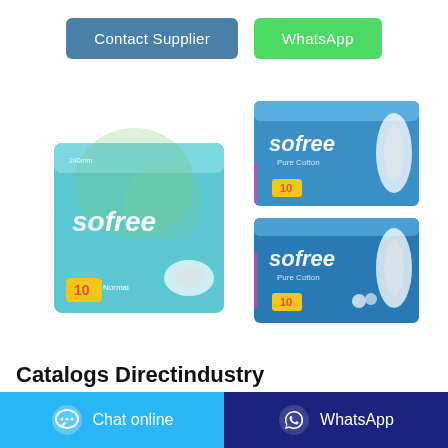[Figure (other): Two buttons: 'Contact Supplier' (blue-grey) and 'WhatsApp' (green)]
[Figure (photo): Product photo showing Sofree brand sanitary pad packaging. Left: one blue-green box labeled 'sofree' with '10 Normal'. Right: two stacked blue packages labeled 'sofree Pure Cotton' each with '10'.]
Catalogs Directindustry
Search among the 239,267 catalogs and technical brochures available on DirectIndustry.
[Figure (other): Bottom bar with two buttons: 'Chat online' (cyan/light blue) with chat bubble icon, and 'WhatsApp' (dark blue) with WhatsApp icon]